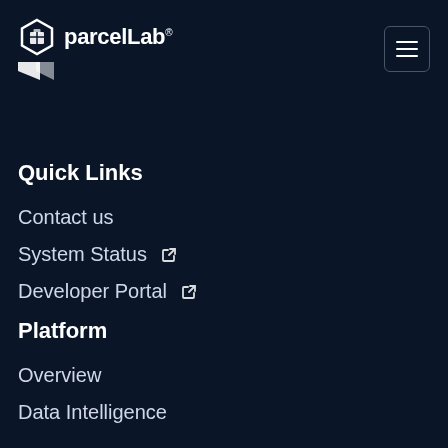parcelLab®
Quick Links
Contact us
System Status ↗
Developer Portal ↗
Platform
Overview
Data Intelligence